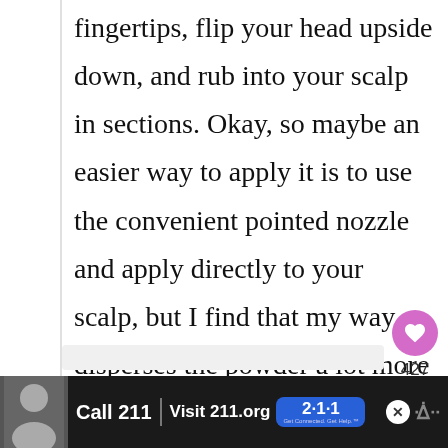fingertips, flip your head upside down, and rub into your scalp in sections. Okay, so maybe an easier way to apply it is to use the convenient pointed nozzle and apply directly to your scalp, but I find that my way disperses the powder a lot more evenly. If you have dark hair, be sure to brush through so your hair doesn't look gray-ish!
[Figure (screenshot): Gray content preview box below the article text]
[Figure (infographic): Advertisement bar at bottom: Call 211 | Visit 211.org with 2-1-1 logo, person on phone, and close button. W logo on right.]